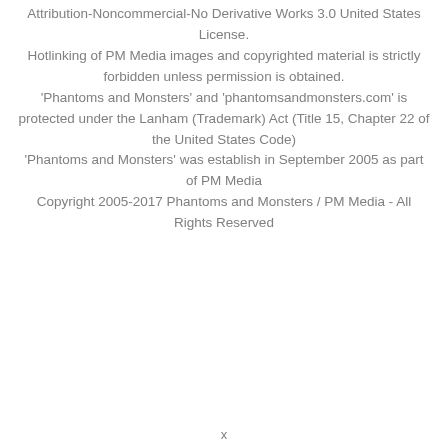Attribution-Noncommercial-No Derivative Works 3.0 United States License.
Hotlinking of PM Media images and copyrighted material is strictly forbidden unless permission is obtained.
'Phantoms and Monsters' and 'phantomsandmonsters.com' is protected under the Lanham (Trademark) Act (Title 15, Chapter 22 of the United States Code)
'Phantoms and Monsters' was establish in September 2005 as part of PM Media
Copyright 2005-2017 Phantoms and Monsters / PM Media - All Rights Reserved
x